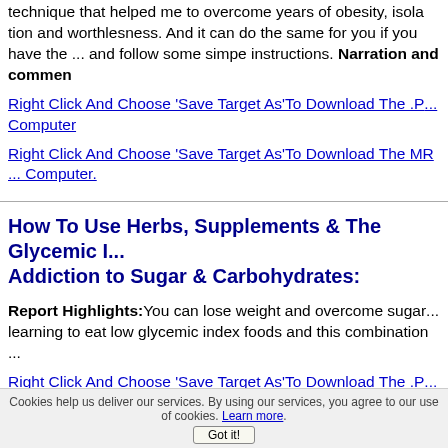technique that helped me to overcome years of obesity, isolation and worthlesness. And it can do the same for you if you have the ... and follow some simpe instructions. Narration and commen
Right Click And Choose 'Save Target As'To Download The .P... Computer
Right Click And Choose 'Save Target As'To Download The MP... Computer.
How To Use Herbs, Supplements & The Glycemic I... Addiction to Sugar & Carbohydrates:
Report Highlights:You can lose weight and overcome sugar... learning to eat low glycemic index foods and this combination...
Right Click And Choose 'Save Target As'To Download The .P... Computer
Right Click And Choose 'Save Target As'To Download The MP... Computer
Cookies help us deliver our services. By using our services, you agree to our use of cookies. Learn more.